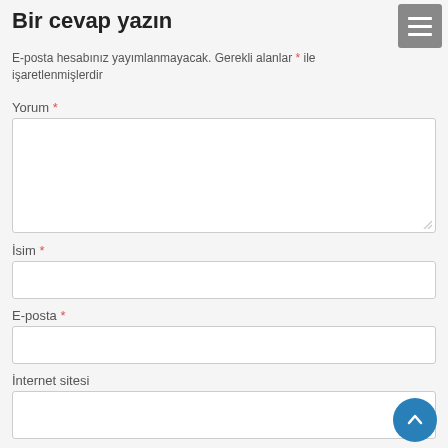Bir cevap yazın
E-posta hesabınız yayımlanmayacak. Gerekli alanlar * ile işaretlenmişlerdir
Yorum *
[Figure (screenshot): Empty textarea input field for comment]
İsim *
[Figure (screenshot): Empty text input field for name]
E-posta *
[Figure (screenshot): Empty text input field for email]
İnternet sitesi
[Figure (screenshot): Empty text input field for website, with blue back-to-top circular button overlay]